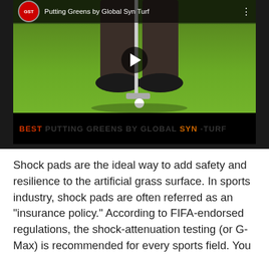[Figure (screenshot): YouTube video thumbnail showing a person putting on an artificial grass green, with channel icon and title 'Putting Greens by Global Syn Turf', a play button in the center, and a caption bar at the bottom reading 'BEST PUTTING GREENS BY GLOBAL SYN-TURF']
Shock pads are the ideal way to add safety and resilience to the artificial grass surface. In sports industry, shock pads are often referred as an "insurance policy." According to FIFA-endorsed regulations, the shock-attenuation testing (or G-Max) is recommended for every sports field. You